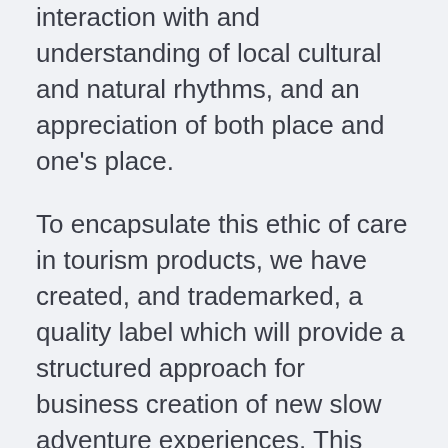about other cultures and environments, the interaction with and understanding of local cultural and natural rhythms, and an appreciation of both place and one's place.
To encapsulate this ethic of care in tourism products, we have created, and trademarked, a quality label which will provide a structured approach for business creation of new slow adventure experiences. This label has been designed to guide the travel choices of visitors who seek to exercise their responsibility through high quality guided slow adventure experiences.
County Leitrim is the home of slow adventure in Ireland. We have created a